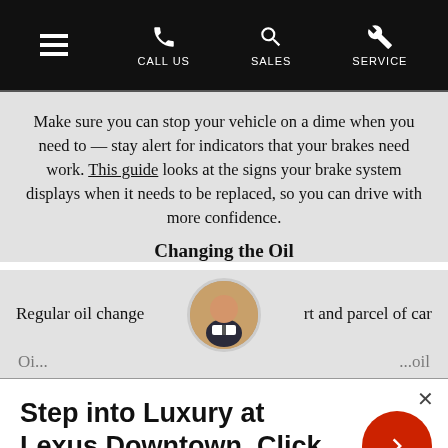CALL US | SALES | SERVICE
Make sure you can stop your vehicle on a dime when you need to — stay alert for indicators that your brakes need work. This guide looks at the signs your brake system displays when it needs to be replaced, so you can drive with more confidence.
Changing the Oil
Regular oil changes [part and parcel of car ...oil
[Figure (photo): Circular avatar photo of a person in professional attire]
Step into Luxury at Lexus Downtown. Click here for exclusive offers.